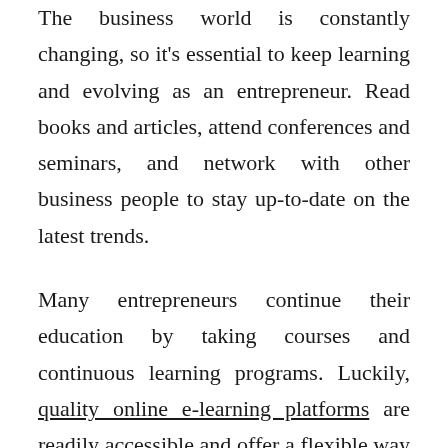The business world is constantly changing, so it's essential to keep learning and evolving as an entrepreneur. Read books and articles, attend conferences and seminars, and network with other business people to stay up-to-date on the latest trends.
Many entrepreneurs continue their education by taking courses and continuous learning programs. Luckily, quality online e-learning platforms are readily accessible and offer a flexible way to learn new skills.
Although enrolling in these programs takes time and effort, the investment is worth it. After all, the more you know, the better equipped you'll be to grow your business. You might even find a few new ideas to help take your business to the next level.